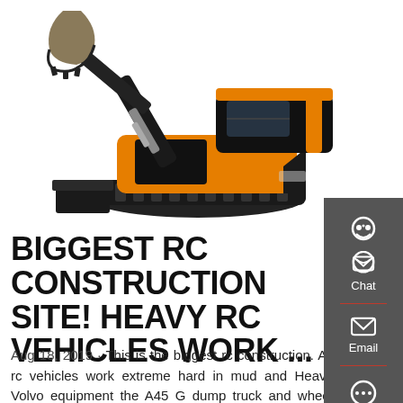[Figure (photo): Orange and black tracked excavator/mini excavator with bucket arm extended, on white background]
BIGGEST RC CONSTRUCTION SITE! HEAVY RC VEHICLES WORK ...
Aug 18, 2019 · This is the biggest rc construction. All rc vehicles work extreme hard in mud and Heavy Volvo equipment the A45 G dump truck and wheel loader in
[Figure (illustration): Sidebar with Chat, Email, and Contact icons on dark grey background]